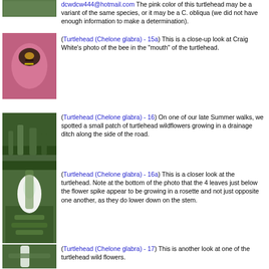dcwdcw444@hotmail.com  The pink color of this turtlehead may be a variant of the same species, or it may be a C. obliqua (we did not have enough information to make a determination).
[Figure (photo): Close-up of bee inside pink turtlehead flower]
(Turtlehead (Chelone glabra) - 15a)  This is a close-up look at Craig White's photo of the bee in the "mouth" of the turtlehead.
[Figure (photo): Turtlehead wildflowers growing in a drainage ditch]
(Turtlehead (Chelone glabra) - 16)  On one of our late Summer walks, we spotted a small patch of turtlehead wildflowers growing in a drainage ditch along the side of the road.
[Figure (photo): Close-up of white turtlehead flower with leaves]
(Turtlehead (Chelone glabra) - 16a)  This is a closer look at the turtlehead.  Note at the bottom of the photo that the 4 leaves just below the flower spike appear to be growing in a rosette and not just opposite one another, as they do lower down on the stem.
[Figure (photo): Another turtlehead wild flower]
(Turtlehead (Chelone glabra) - 17)  This is another look at one of the turtlehead wild flowers.